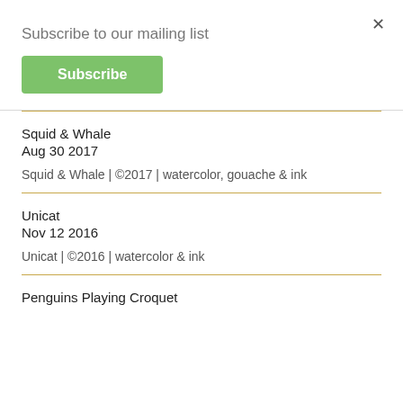Subscribe to our mailing list
Subscribe
×
Squid & Whale
Aug 30 2017

Squid & Whale | ©2017 | watercolor, gouache & ink
Unicat
Nov 12 2016

Unicat | ©2016 | watercolor & ink
Penguins Playing Croquet